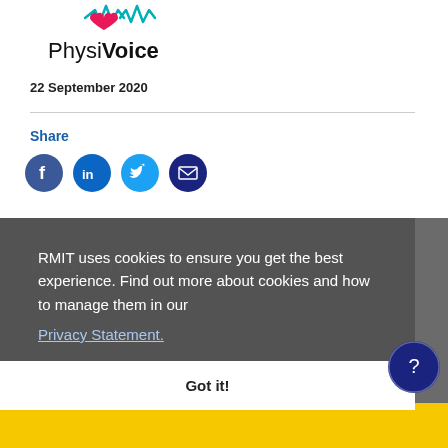[Figure (logo): PhysiVoice logo with heart/wave icon and text 'PhysiVoice']
22 September 2020
Share
[Figure (other): Social media share icons: Facebook, LinkedIn, Twitter, Email]
RMIT uses cookies to ensure you get the best experience. Find out more about cookies and how to manage them in our Privacy Statement.
Got it!